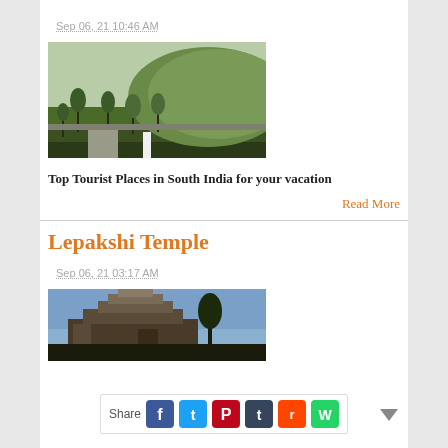Sep 06, 21 10:46 AM
[Figure (photo): Green landscape with trees and hills in background]
Top Tourist Places in South India for your vacation
Read More
Lepakshi Temple
Sep 06, 21 03:17 AM
[Figure (photo): Temple structure with gopuram against blue sky]
Share